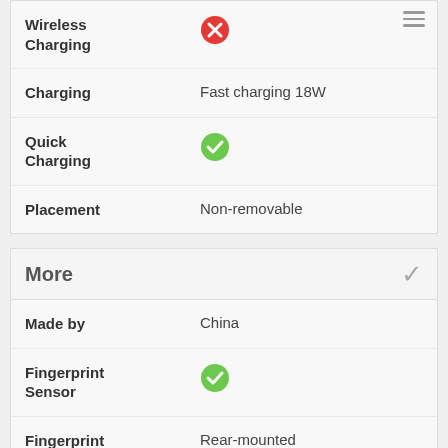| Feature | Value |
| --- | --- |
| Wireless Charging | ✗ |
| Charging | Fast charging 18W |
| Quick Charging | ✓ |
| Placement | Non-removable |
| More |  |
| --- | --- |
| Made by | China |
| Fingerprint Sensor | ✓ |
| Fingerprint Sensor Position | Rear-mounted |
Xiaomi Poco C40 - Your Question and Our